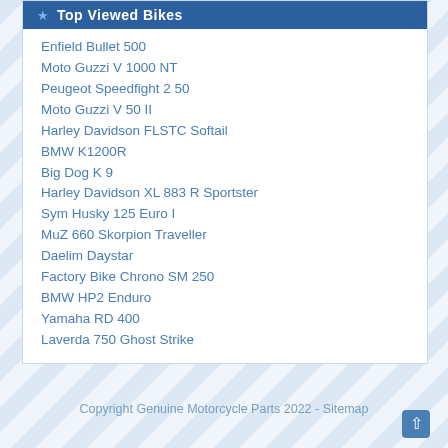Top Viewed Bikes
Enfield Bullet 500
Moto Guzzi V 1000 NT
Peugeot Speedfight 2 50
Moto Guzzi V 50 II
Harley Davidson FLSTC Softail
BMW K1200R
Big Dog K 9
Harley Davidson XL 883 R Sportster
Sym Husky 125 Euro I
MuZ 660 Skorpion Traveller
Daelim Daystar
Factory Bike Chrono SM 250
BMW HP2 Enduro
Yamaha RD 400
Laverda 750 Ghost Strike
Copyright Genuine Motorcycle Parts 2022 - Sitemap